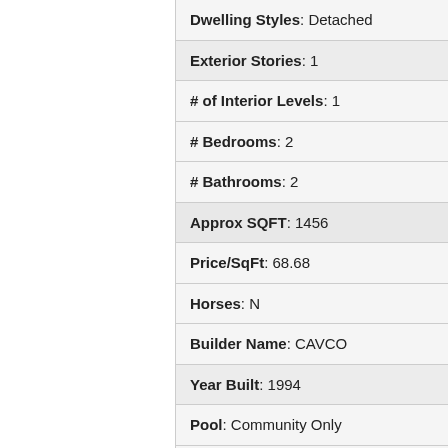Dwelling Styles: Detached
Exterior Stories: 1
# of Interior Levels: 1
# Bedrooms: 2
# Bathrooms: 2
Approx SQFT: 1456
Price/SqFt: 68.68
Horses: N
Builder Name: CAVCO
Year Built: 1994
Pool: Community Only
Elementary School: Adult
Jr. High School: Adult
High School: Adult